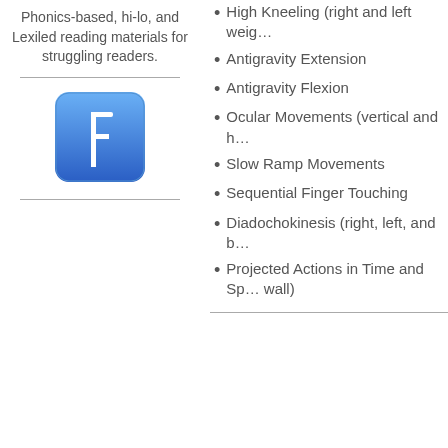Phonics-based, hi-lo, and Lexiled reading materials for struggling readers.
[Figure (logo): Facebook logo icon - blue rounded square with white F]
High Kneeling (right and left weig…
Antigravity Extension
Antigravity Flexion
Ocular Movements (vertical and h…
Slow Ramp Movements
Sequential Finger Touching
Diadochokinesis (right, left, and b…
Projected Actions in Time and Sp… wall)
(Play Video)
Comprehensive Observations of Pro…